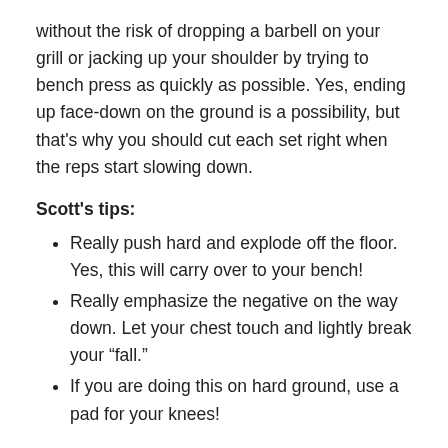without the risk of dropping a barbell on your grill or jacking up your shoulder by trying to bench press as quickly as possible. Yes, ending up face-down on the ground is a possibility, but that's why you should cut each set right when the reps start slowing down.
Scott's tips:
Really push hard and explode off the floor. Yes, this will carry over to your bench!
Really emphasize the negative on the way down. Let your chest touch and lightly break your "fall."
If you are doing this on hard ground, use a pad for your knees!
The perfect dose: Build up to 4 sets of 15 reps, with a solid 2-3-minute rest between each set. But seriously: Stop